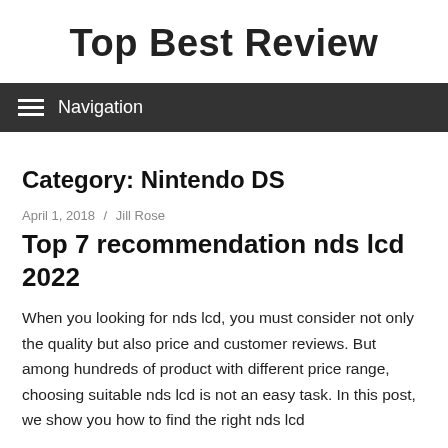Top Best Review
Navigation
Category: Nintendo DS
April 1, 2018 / Jill Rose
Top 7 recommendation nds lcd 2022
When you looking for nds lcd, you must consider not only the quality but also price and customer reviews. But among hundreds of product with different price range, choosing suitable nds lcd is not an easy task. In this post, we show you how to find the right nds lcd...